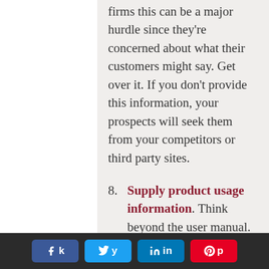firms this can be a major hurdle since they're concerned about what their customers might say. Get over it. If you don't provide this information, your prospects will seek them from your competitors or third party sites.
8. Supply product usage information. Think beyond the user manual. Give owners the extra help they need. Use a combination of text, photographs and video where appropriate.
9. Encourage customers to share tips
Social share buttons: Facebook, Twitter, LinkedIn, Pinterest